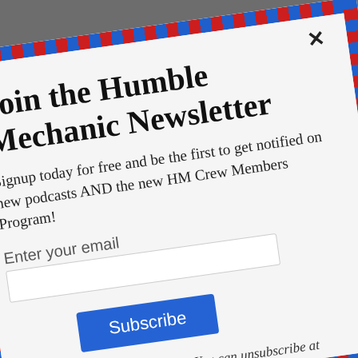Join the Humble Mechanic Newsletter
Signup today for free and be the first to get notified on new podcasts AND the new HM Crew Members Program!
Enter your email
Subscribe
Don't worry, we hate spam too! You can unsubscribe at